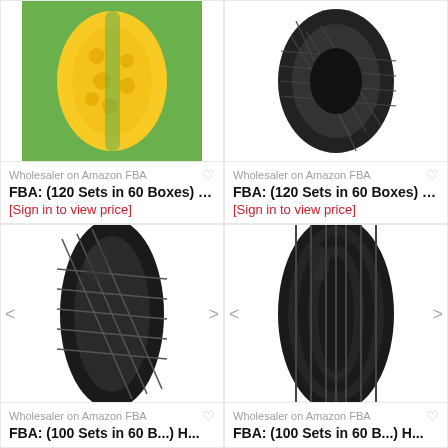[Figure (photo): Yellow and green textured ball/tire on grass background (top-left product image)]
Wholesaler on Amazon FBA
FBA: (120 Sets in 60 Boxes) H...
[Sign in to view price]
[Figure (photo): Black diamond-tread tire (top-right product image)]
Wholesaler on Amazon FBA
FBA: (120 Sets in 60 Boxes) H...
[Sign in to view price]
[Figure (photo): Black diamond-tread wheelbarrow tire with left and right navigation arrows (bottom-left product image)]
Wholesaler on Amazon FBA
FBA: (100 Sets in 60 B...) H...
[Figure (photo): Black ribbed/grooved wheelbarrow tire with left and right navigation arrows (bottom-right product image)]
Wholesaler on Amazon FBA
FBA: (100 Sets in 60 B...) H...